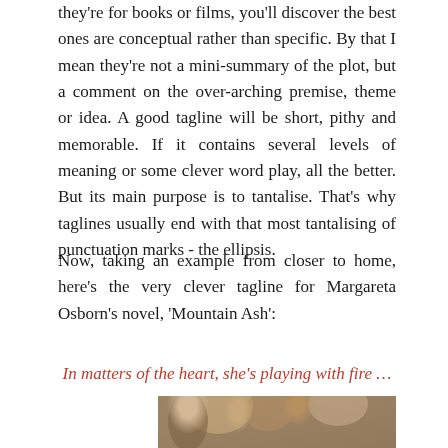they're for books or films, you'll discover the best ones are conceptual rather than specific. By that I mean they're not a mini-summary of the plot, but a comment on the over-arching premise, theme or idea. A good tagline will be short, pithy and memorable. If it contains several levels of meaning or some clever word play, all the better. But its main purpose is to tantalise. That's why taglines usually end with that most tantalising of punctuation marks - the ellipsis.
Now, taking an example from closer to home, here's the very clever tagline for Margareta Osborn's novel, 'Mountain Ash':
In matters of the heart, she's playing with fire …
[Figure (photo): Bottom portion of a photograph showing a person, cropped at the top of the page bottom]